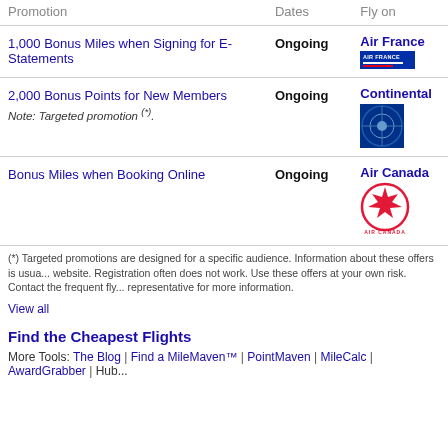| Promotion | Dates | Fly on |
| --- | --- | --- |
| 1,000 Bonus Miles when Signing for E-Statements | Ongoing | Air France |
| 2,000 Bonus Points for New Members
Note: Targeted promotion (*). | Ongoing | Continental |
| Bonus Miles when Booking Online | Ongoing | Air Canada |
(*) Targeted promotions are designed for a specific audience. Information about these offers is usually not published on the airline's website. Registration often does not work. Use these offers at your own risk. Contact the frequent flyer program representative for more information.
View all
Find the Cheapest Flights
More Tools: The Blog | Find a MileMaven™ | PointMaven | MileCalc | AwardGrabber | Hub...